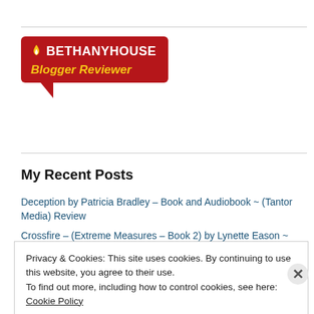[Figure (logo): Bethany House Blogger Reviewer badge — red speech bubble with white Bethany House logo text and yellow italic 'Blogger Reviewer' subtitle]
My Recent Posts
Deception by Patricia Bradley – Book and Audiobook ~ (Tantor Media) Review
Crossfire – (Extreme Measures – Book 2) by Lynette Eason ~
Privacy & Cookies: This site uses cookies. By continuing to use this website, you agree to their use.
To find out more, including how to control cookies, see here: Cookie Policy
Close and accept